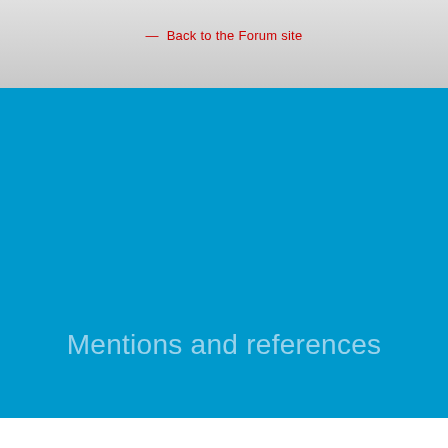— Back to the Forum site
Mentions and references